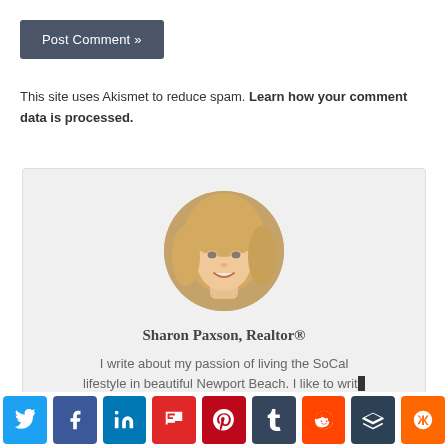Post Comment »
This site uses Akismet to reduce spam. Learn how your comment data is processed.
[Figure (photo): Circular avatar photo of Sharon Paxson, a smiling blonde woman]
Sharon Paxson, Realtor®
I write about my passion of living the SoCal lifestyle in beautiful Newport Beach. I like to writ…
[Figure (infographic): Social share button bar with icons for Twitter, Facebook, LinkedIn, Flipboard, Pinterest, Tumblr, Reddit, Buffer, Mix]